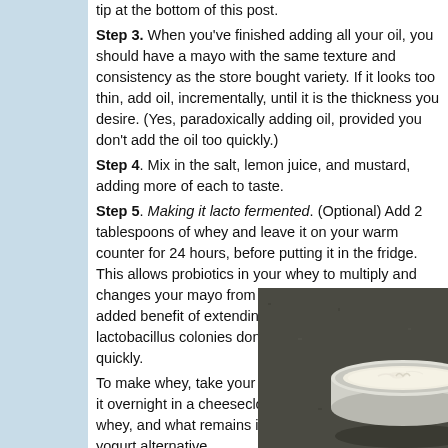tip at the bottom of this post.
Step 3. When you've finished adding all your oil, you should have a mayo with the same texture and consistency as the store bought variety. If it looks too thin, add oil, incrementally, until it is the thickness you desire. (Yes, paradoxically adding oil, provided you don't add the oil too quickly.)
Step 4. Mix in the salt, lemon juice, and mustard, adding more of each to taste.
Step 5. Making it lacto fermented. (Optional) Add 2 tablespoons of whey and leave it on your warm counter for 24 hours, before putting it in the fridge. This allows probiotics in your whey to multiply and changes your mayo from good to great. It has the added benefit of extending its shelf life, as the lactobacillus colonies don't let bad bacteria spread as quickly.
To make whey, take your homemade yogurt and strain it overnight in a cheesecloth set out. This liquid is whey, and what remains in the cheesecloth is a Greek yogurt alternative.
[Figure (photo): A container of homemade mayonnaise on a dark granite countertop surface]